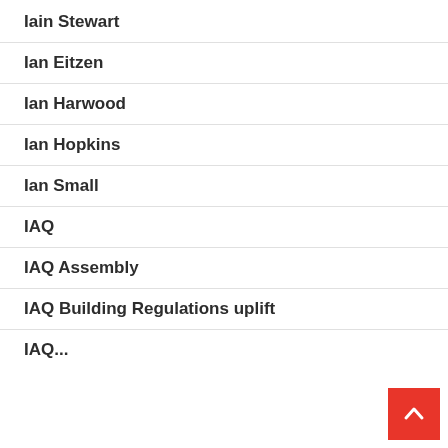Iain Stewart
Ian Eitzen
Ian Harwood
Ian Hopkins
Ian Small
IAQ
IAQ Assembly
IAQ Building Regulations uplift
IAQ...